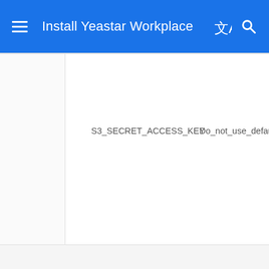Install Yeastar Workplace
S3_SECRET_ACCESS_KEY    Do_not_use_default_passwo